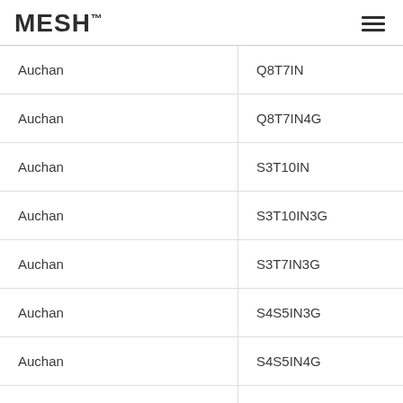MESH™
| Auchan | Q8T7IN |
| Auchan | Q8T7IN4G |
| Auchan | S3T10IN |
| Auchan | S3T10IN3G |
| Auchan | S3T7IN3G |
| Auchan | S4S5IN3G |
| Auchan | S4S5IN4G |
| Auchan | S4S6IN3G |